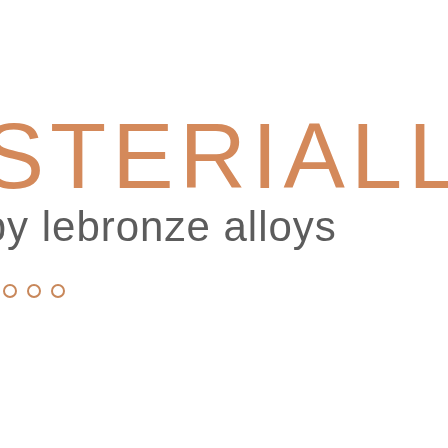[Figure (logo): STERIALL by lebronze alloys logo. Large orange/copper colored thin-weight text 'STERIALL' on top, below it in grey 'by lebronze alloys', followed by three small open circles in orange/copper color.]